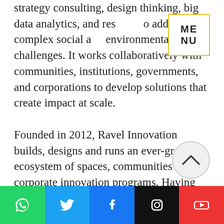strategy consulting, design thinking, big data analytics, and research to address complex social and environmental challenges. It works collaboratively with communities, institutions, governments, and corporations to develop solutions that create impact at scale.
Founded in 2012, Ravel Innovation builds, designs and runs an ever-growing ecosystem of spaces, communities and corporate innovation programs. Having worked with more than 100 organizations, it combines organisational psychology, startup driven methodologies and an unparalleled network of global talent, technologies and experts to create real impact for their clients, who in turn...
[Figure (other): Social media share bar with WhatsApp (green), Twitter (blue), Facebook (blue), Instagram (black), YouTube (red) icons]